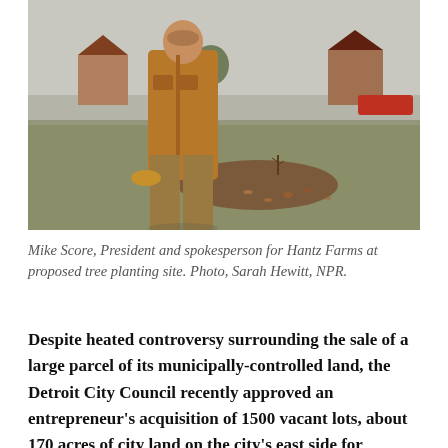[Figure (photo): A man in a brown/tan work jacket and khaki pants stands on a grassy open field in winter, holding a beanie hat. Behind him is an open lot with bare ground, dead leaves, a small sapling, and houses and parked cars visible in the background.]
Mike Score, President and spokesperson for Hantz Farms at proposed tree planting site. Photo, Sarah Hewitt, NPR.
Despite heated controversy surrounding the sale of a large parcel of its municipally-controlled land, the Detroit City Council recently approved an entrepreneur's acquisition of 1500 vacant lots, about 170 acres of city land on the city's east side for development of an urban “beautification project.”